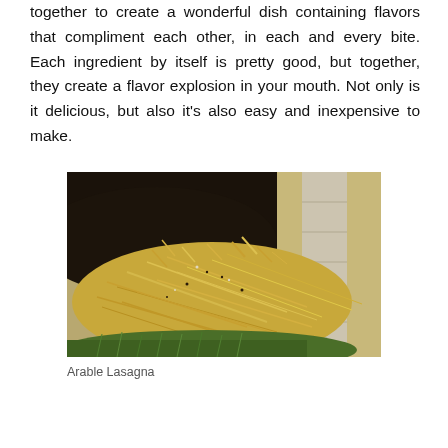together to create a wonderful dish containing flavors that compliment each other, in each and every bite. Each ingredient by itself is pretty good, but together, they create a flavor explosion in your mouth. Not only is it delicious, but also it's also easy and inexpensive to make.
[Figure (photo): Close-up photograph of a pile of straw/hay with dark soil/compost on top, next to a light-colored brick or stone border. Agricultural or gardening scene showing lasagna mulching or soil layering technique.]
Arable Lasagna